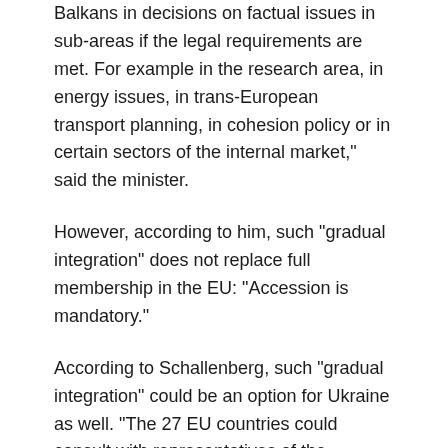Balkans in decisions on factual issues in sub-areas if the legal requirements are met. For example in the research area, in energy issues, in trans-European transport planning, in cohesion policy or in certain sectors of the internal market," said the minister.
However, according to him, such "gradual integration" does not replace full membership in the EU: "Accession is mandatory."
According to Schallenberg, such "gradual integration" could be an option for Ukraine as well. "The 27 EU countries could consult with representatives of the Western Balkans or Ukraine, Moldova and Georgia for two or three hours before the start of regular meetings. So these countries could participate. They would be involved in specific questions, but the decisions are ultimately made by the EU states," the Minister explained the practical implementation of his idea.
At the same time, when asked whether Ukraine should